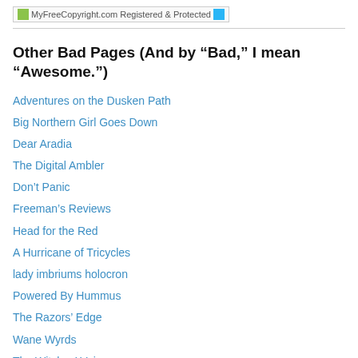[Figure (logo): MyFreeCopyright.com Registered & Protected badge with two small icons]
Other Bad Pages (And by “Bad,” I mean “Awesome.”)
Adventures on the Dusken Path
Big Northern Girl Goes Down
Dear Aradia
The Digital Ambler
Don't Panic
Freeman's Reviews
Head for the Red
A Hurricane of Tricycles
lady imbriums holocron
Powered By Hummus
The Razors’ Edge
Wane Wyrds
The Witches’ Voice
Witchy Rambles
Wyrd Anglo Saxon Priestess